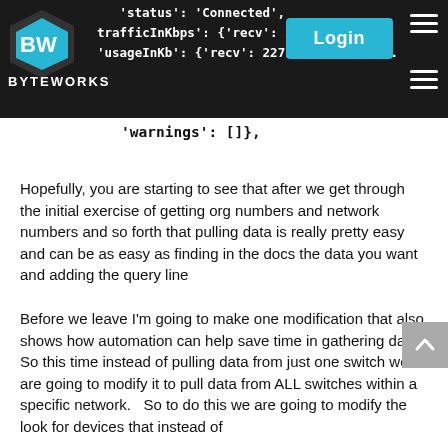BYTEWORKS navigation header with code overlay and Login button
'status': 'Connected',
  trafficInKbps': {'recv': 2.1, 'sent'
  'usageInKb': {'recv': 22732, 'sent': ...
'warnings': []},
Hopefully, you are starting to see that after we get through the initial exercise of getting org numbers and network numbers and so forth that pulling data is really pretty easy and can be as easy as finding in the docs the data you want and adding the query line
Before we leave I'm going to make one modification that also shows how automation can help save time in gathering data.  So this time instead of pulling data from just one switch we are going to modify it to pull data from ALL switches within a specific network.   So to do this we are going to modify the look for devices that instead of